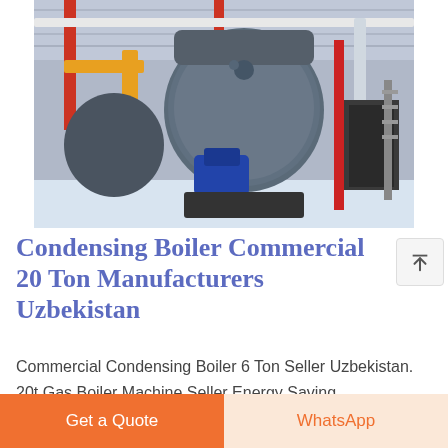[Figure (photo): Industrial boiler room interior showing large cylindrical boilers with blue motor, yellow gas pipes, red structural beams, white pipes overhead, and a dark access door in the background.]
Condensing Boiler Commercial 20 Ton Manufacturers Uzbekistan
Commercial Condensing Boiler 6 Ton Seller Uzbekistan. 20t Gas Boiler Machine Seller Energy Saving Turkmenistan Boiler With a 140,000 square meter production base, we become